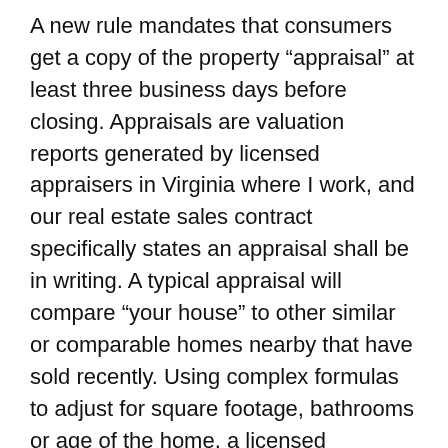A new rule mandates that consumers get a copy of the property “appraisal” at least three business days before closing. Appraisals are valuation reports generated by licensed appraisers in Virginia where I work, and our real estate sales contract specifically states an appraisal shall be in writing. A typical appraisal will compare “your house” to other similar or comparable homes nearby that have sold recently. Using complex formulas to adjust for square footage, bathrooms or age of the home, a licensed appraiser will determine an opinion of the current market value of the property.
Appraisal firms are at “arm’s length” from mortgage lenders so typically the low bidder gets